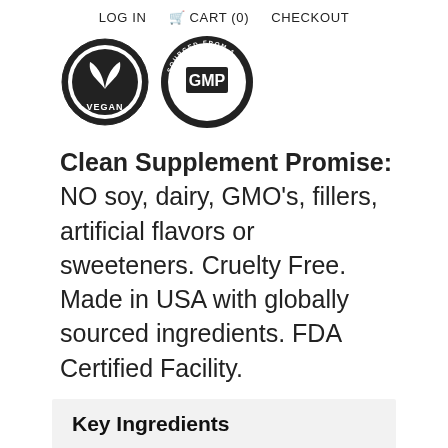LOG IN   CART (0)   CHECKOUT
[Figure (logo): Two circular certification badges: left is a VEGAN badge with leaf icon, right is a 'SOURCED FROM A GMP CERTIFIED FACILITY' badge with GMP text]
Clean Supplement Promise: NO soy, dairy, GMO’s, fillers, artificial flavors or sweeteners. Cruelty Free. Made in USA with globally sourced ingredients. FDA Certified Facility.
Key Ingredients
Directions
Ingredients